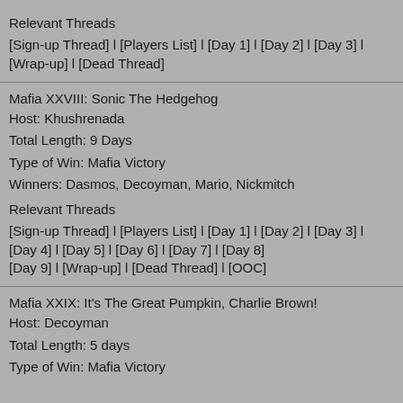Relevant Threads
[Sign-up Thread] l [Players List] l [Day 1] l [Day 2] l [Day 3] l [Wrap-up] l [Dead Thread]
Mafia XXVIII: Sonic The Hedgehog
Host: Khushrenada
Total Length: 9 Days
Type of Win: Mafia Victory
Winners: Dasmos, Decoyman, Mario, Nickmitch
Relevant Threads
[Sign-up Thread] l [Players List] l [Day 1] l [Day 2] l [Day 3] l [Day 4] l [Day 5] l [Day 6] l [Day 7] l [Day 8]
[Day 9] l [Wrap-up] l [Dead Thread] l [OOC]
Mafia XXIX: It's The Great Pumpkin, Charlie Brown!
Host: Decoyman
Total Length: 5 days
Type of Win: Mafia Victory